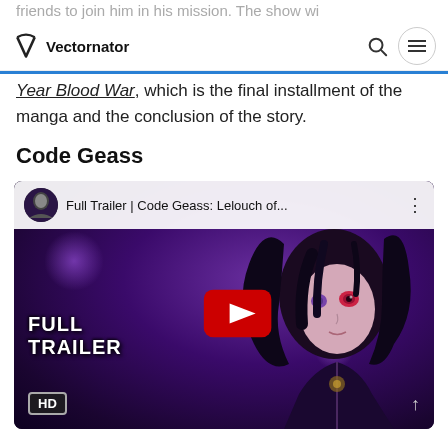friends to join him in his mission. The show wi
Vectornator
Year Blood War, which is the final installment of the manga and the conclusion of the story.
Code Geass
[Figure (screenshot): YouTube video embed showing 'Full Trailer | Code Geass: Lelouch of...' with a purple-themed anime character (Lelouch) on the thumbnail, a red YouTube play button in the center, 'Full Trailer' text in the bottom-left, an HD badge, and a video top bar with channel thumbnail.]